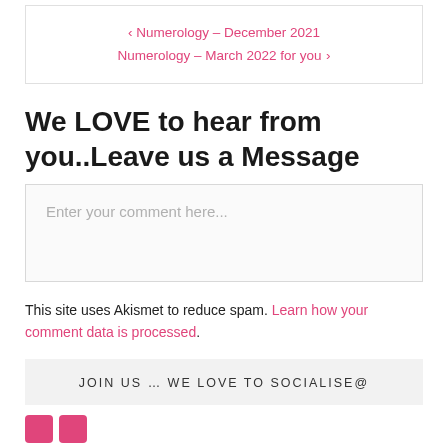‹ Numerology – December 2021
Numerology – March 2022 for you ›
We LOVE to hear from you..Leave us a Message
Enter your comment here...
This site uses Akismet to reduce spam. Learn how your comment data is processed.
JOIN US … WE LOVE TO SOCIALISE@
[Figure (other): Social media icon buttons (pink/red square icons)]